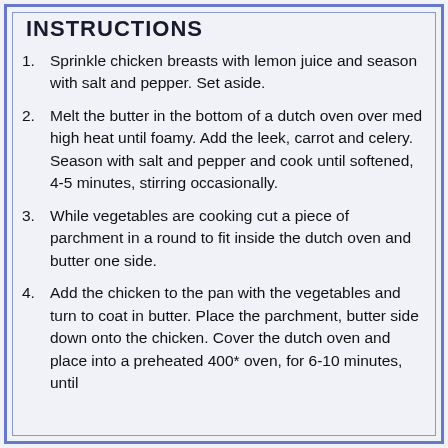INSTRUCTIONS
Sprinkle chicken breasts with lemon juice and season with salt and pepper.  Set aside.
Melt the butter in the bottom of a dutch oven over med high heat until foamy.  Add the leek, carrot and celery.  Season with salt and pepper and cook until softened, 4-5 minutes, stirring occasionally.
While vegetables are cooking cut a piece of parchment in a round to fit inside the dutch oven and butter one side.
Add the chicken to the pan with the vegetables and turn to coat in butter.  Place the parchment, butter side down onto the chicken.  Cover the dutch oven and place into a preheated 400* oven, for 6-10 minutes, until